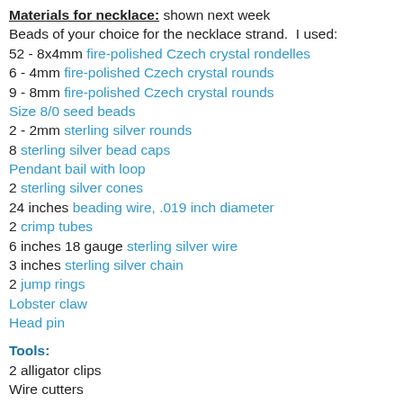Materials for necklace: shown next week
Beads of your choice for the necklace strand.  I used:
52 - 8x4mm fire-polished Czech crystal rondelles
6 - 4mm fire-polished Czech crystal rounds
9 - 8mm fire-polished Czech crystal rounds
Size 8/0 seed beads
2 - 2mm sterling silver rounds
8 sterling silver bead caps
Pendant bail with loop
2 sterling silver cones
24 inches beading wire, .019 inch diameter
2 crimp tubes
6 inches 18 gauge sterling silver wire
3 inches sterling silver chain
2 jump rings
Lobster claw
Head pin
Tools:
2 alligator clips
Wire cutters
Chain nose pliers